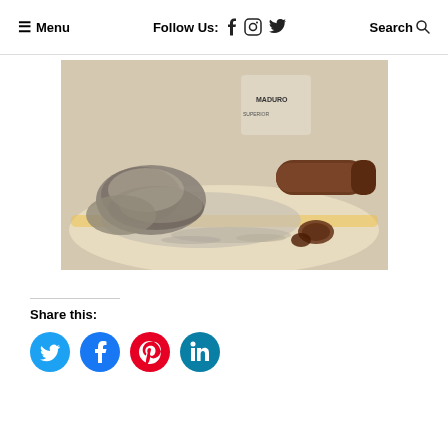≡ Menu   Follow Us: f  [instagram]  [twitter]   Search 🔍
[Figure (photo): A smoked cigar resting on a colorful plate, with ash and cigar butts scattered around. The label on the cigar box reads MADURO in the background.]
Share this:
[Figure (infographic): Four social media share buttons: Twitter (blue), Facebook (blue), Pinterest (red), LinkedIn (teal)]